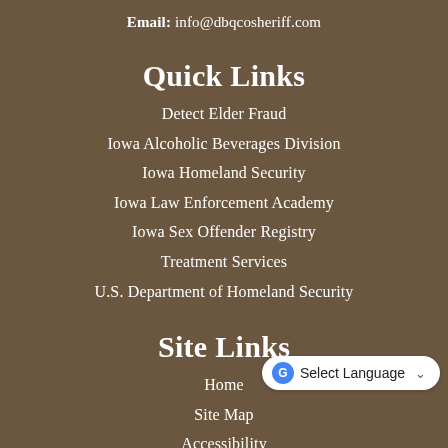Email: info@dbqcosheriff.com
Quick Links
Detect Elder Fraud
Iowa Alcoholic Beverages Division
Iowa Homeland Security
Iowa Law Enforcement Academy
Iowa Sex Offender Registry
Treatment Services
U.S. Department of Homeland Security
Site Links
Home
Site Map
Accessibility
[Figure (screenshot): Google Translate 'Select Language' dropdown widget overlaid on page]